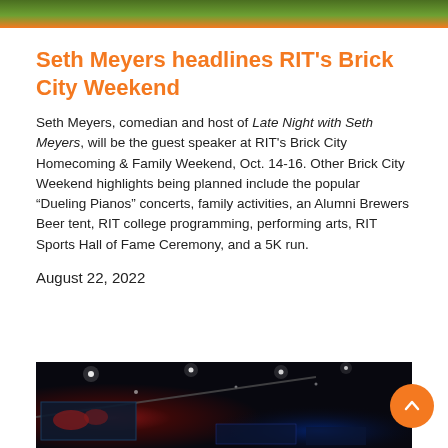Seth Meyers headlines RIT's Brick City Weekend
Seth Meyers, comedian and host of Late Night with Seth Meyers, will be the guest speaker at RIT's Brick City Homecoming & Family Weekend, Oct. 14-16. Other Brick City Weekend highlights being planned include the popular “Dueling Pianos” concerts, family activities, an Alumni Brewers Beer tent, RIT college programming, performing arts, RIT Sports Hall of Fame Ceremony, and a 5K run.
August 22, 2022
[Figure (photo): Dark interior photo of a room with ceiling spotlights and a world map display screen visible, taken at night or in a dim environment.]